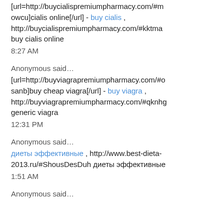[url=http://buycialispremiumpharmacy.com/#mowcu]cialis online[/url] - buy cialis , http://buycialispremiumpharmacy.com/#kktma buy cialis online
8:27 AM
Anonymous said…
[url=http://buyviagrapremiumpharmacy.com/#osanb]buy cheap viagra[/url] - buy viagra , http://buyviagrapremiumpharmacy.com/#qknhg generic viagra
12:31 PM
Anonymous said…
диеты эффективные , http://www.best-dieta-2013.ru/#ShousDesDuh диеты эффективные
1:51 AM
Anonymous said…